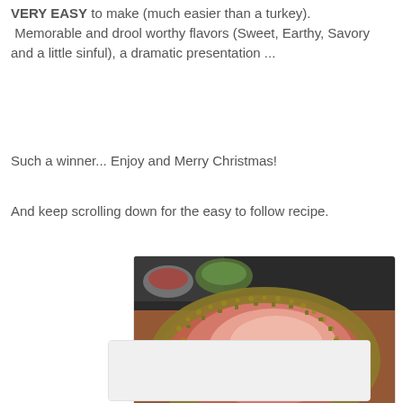VERY EASY to make (much easier than a turkey). Memorable and drool worthy flavors (Sweet, Earthy, Savory and a little sinful), a dramatic presentation ...
Such a winner... Enjoy and Merry Christmas!
And keep scrolling down for the easy to follow recipe.
[Figure (photo): A glazed ham coated with pistachio crust, sliced open to show pink interior, served on a wooden board with side dishes visible in background.]
[Figure (photo): Partially visible image at bottom of page, content unclear.]